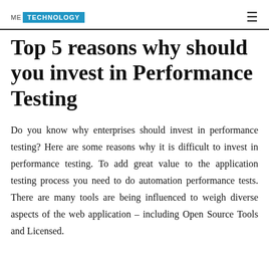ME TECHNOLOGY
Top 5 reasons why should you invest in Performance Testing
Do you know why enterprises should invest in performance testing? Here are some reasons why it is difficult to invest in performance testing. To add great value to the application testing process you need to do automation performance tests. There are many tools are being influenced to weigh diverse aspects of the web application – including Open Source Tools and Licensed.